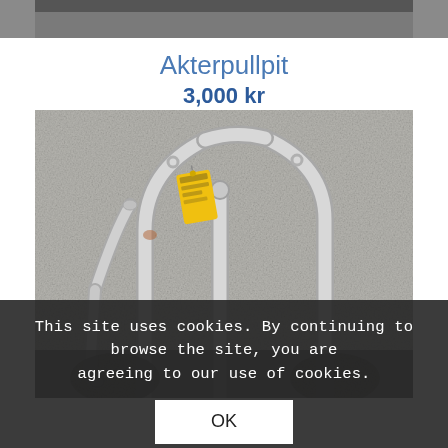[Figure (photo): Partial top image cropped at the top of the page, showing a dark object on light background]
Akterpullpit
3,000 kr
[Figure (photo): A stainless steel stern pulpit (boat railing) with a yellow price tag, standing on a concrete surface]
This site uses cookies. By continuing to browse the site, you are agreeing to our use of cookies.
OK